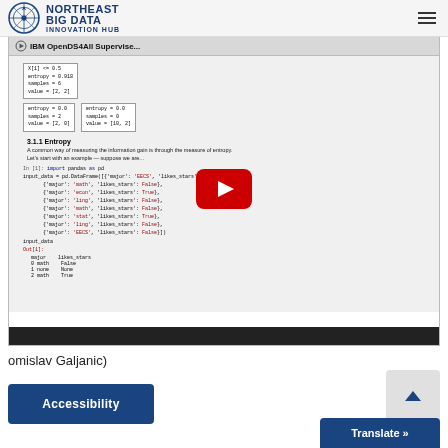Northeast Big Data Innovation Hub
[Figure (screenshot): YouTube video thumbnail showing IBM OpenDS4All Supervised learning Jupyter notebook with decision tree visualization and code, with a red YouTube play button overlay in the center]
omislav Galjanic)
Accessibility
Translate »